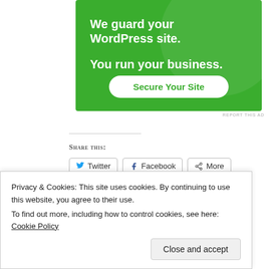[Figure (illustration): Green advertisement banner for WordPress security service with text 'We guard your WordPress site. You run your business.' and a 'Secure Your Site' button]
REPORT THIS AD
Share this:
Twitter  Facebook  More
Like
Privacy & Cookies: This site uses cookies. By continuing to use this website, you agree to their use. To find out more, including how to control cookies, see here: Cookie Policy
Close and accept